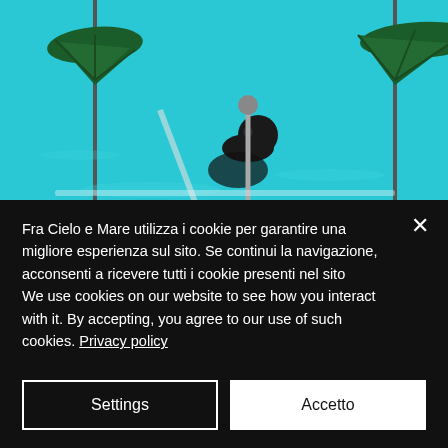[Figure (photo): Pool scene with turquoise/cyan water, two dark green beach umbrellas on poles, a person in the pool with a dark round float/ball, partial white handrail visible]
Fra Cielo e Mare utilizza i cookie per garantire una migliore esperienza sul sito. Se continui la navigazione, acconsenti a ricevere tutti i cookie presenti nel sito
We use cookies on our website to see how you interact with it. By accepting, you agree to our use of such cookies. Privacy policy
Settings
Accetto